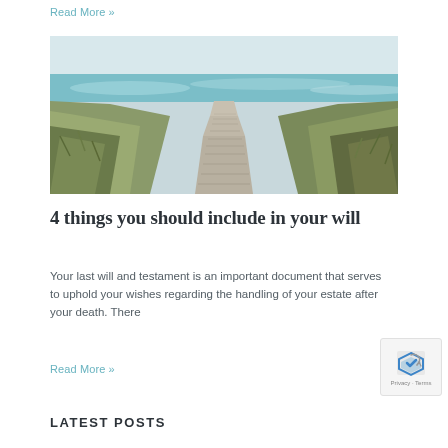Read More »
[Figure (photo): A wooden boardwalk path leading through grassy dunes toward the ocean with waves and a pale sky in the background]
4 things you should include in your will
Your last will and testament is an important document that serves to uphold your wishes regarding the handling of your estate after your death. There
Read More »
LATEST POSTS